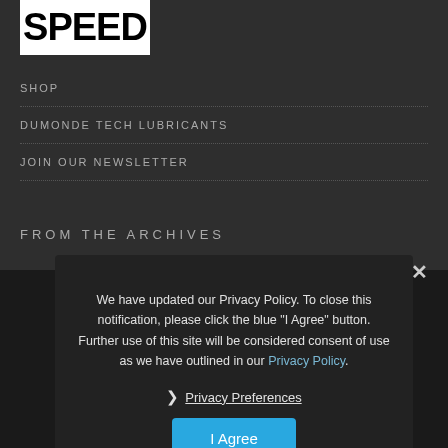[Figure (logo): SPEED logo in black text on white background]
SHOP
DUMONDE TECH LUBRICANTS
JOIN OUR NEWSLETTER
FROM THE ARCHIVES
[Figure (photo): Dark background image of a racing scene]
We have updated our Privacy Policy. To close this notification, please click the blue "I Agree" button. Further use of this site will be considered consent of use as we have outlined in our Privacy Policy.
❯ Privacy Preferences
I Agree